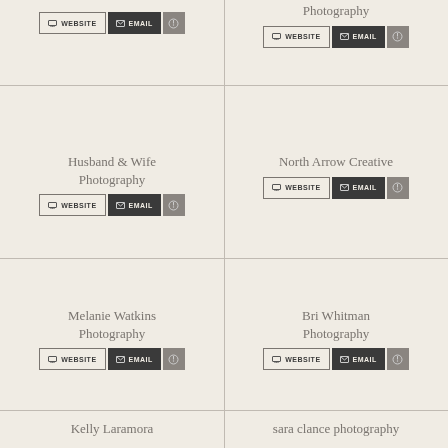Photography
WEBSITE | EMAIL | [icon]
Photography
WEBSITE | EMAIL | [icon]
Husband & Wife Photography
WEBSITE | EMAIL | [icon]
North Arrow Creative
WEBSITE | EMAIL | [icon]
Melanie Watkins Photography
WEBSITE | EMAIL | [icon]
Bri Whitman Photography
WEBSITE | EMAIL | [icon]
Kelly Laramora
sara clance photography